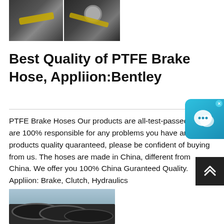[Figure (photo): Two photos of PTFE brake hoses with yellow and black coloring, shown close up]
Best Quality of PTFE Brake Hose, Appliion:Bentley
PTFE Brake Hoses Our products are all-test-passed. We are 100% responsible for any problems you have and products quality quaranteed, please be confident of buying from us. The hoses are made in China, different from China. We offer you 100% China Guranteed Quality. Appliion: Brake, Clutch, Hydraulics
[Figure (photo): Photo of large coiled black hoses stacked outdoors]